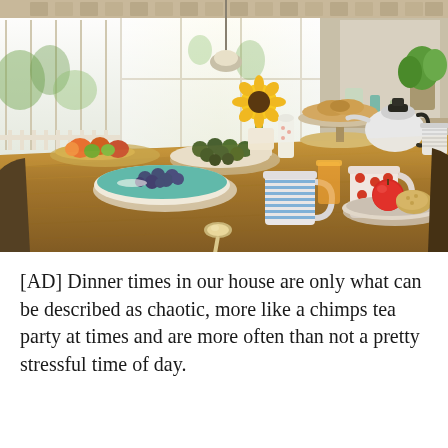[Figure (photo): A bright kitchen dining table scene with a wooden table set for breakfast or tea. Items include a white bowl with blueberries, a blue-striped mug, a red polka-dot mug, a plate with a red apple and food, a bowl of fruit, sunflowers in a vase, a kettle, food on a stand, and various items in the background with large sunny windows.]
[AD] Dinner times in our house are only what can be described as chaotic, more like a chimps tea party at times and are more often than not a pretty stressful time of day.